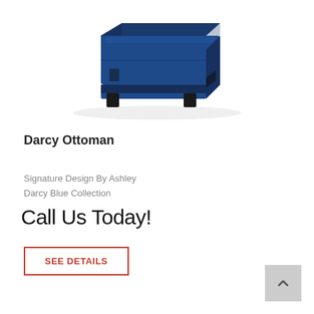[Figure (photo): A navy blue upholstered ottoman (Darcy Ottoman) with dark wooden feet, viewed from a slight angle above. The ottoman is square-shaped with a cushioned top.]
Darcy Ottoman
Signature Design By Ashley
Darcy Blue Collection
Call Us Today!
SEE DETAILS